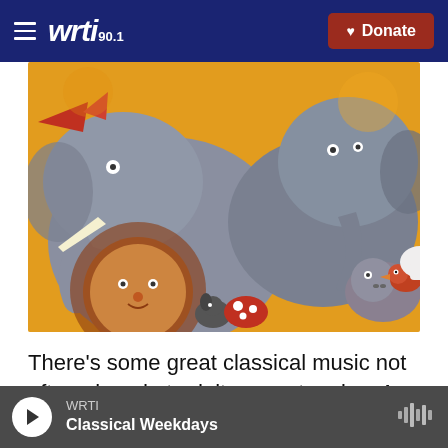wrti 90.1 | Donate
[Figure (illustration): Colorful illustrated painting of cartoon animals crowded together — two large grey elephants, a lion with red mane, a hippo, and smaller animals including a bird and a mouse, against a yellow/orange background.]
There’s some great classical music not often played at adult concert series. As WRTI’s Susan Lewis reports, The Philadelphia Orchestra’s principal guest conductor points to several under-
WRTI — Classical Weekdays